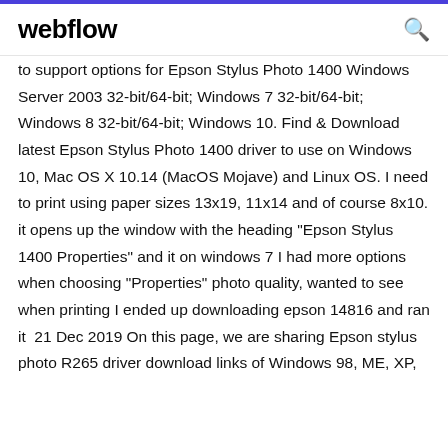webflow
to support options for Epson Stylus Photo 1400 Windows Server 2003 32-bit/64-bit; Windows 7 32-bit/64-bit; Windows 8 32-bit/64-bit; Windows 10. Find & Download latest Epson Stylus Photo 1400 driver to use on Windows 10, Mac OS X 10.14 (MacOS Mojave) and Linux OS. I need to print using paper sizes 13x19, 11x14 and of course 8x10. it opens up the window with the heading "Epson Stylus 1400 Properties" and it on windows 7 I had more options when choosing "Properties" photo quality, wanted to see when printing I ended up downloading epson 14816 and ran it  21 Dec 2019 On this page, we are sharing Epson stylus photo R265 driver download links of Windows 98, ME, XP,